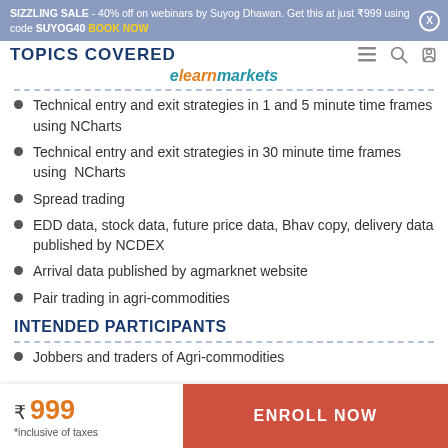SIZZLING SALE - 40% off on webinars by Suyog Dhawan. Get this at just ₹999 using code SUYOG40 BOOK NOW
TOPICS COVERED
Technical entry and exit strategies in 1 and 5 minute time frames using NCharts
Technical entry and exit strategies in 30 minute time frames using NCharts
Spread trading
EDD data, stock data, future price data, Bhav copy, delivery data published by NCDEX
Arrival data published by agmarknet website
Pair trading in agri-commodities
INTENDED PARTICIPANTS
Jobbers and traders of Agri-commodities
₹ 999 *inclusive of taxes
ENROLL NOW